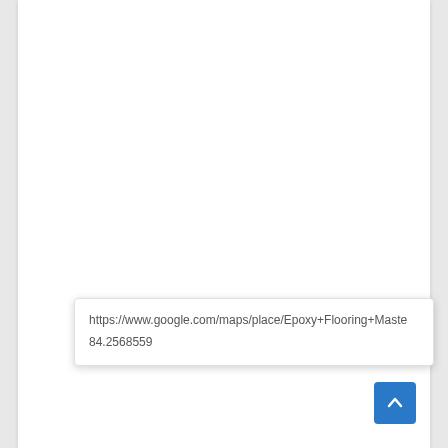https://www.google.com/maps/place/Epoxy+Flooring+Master
84.2568559
[Figure (other): Blue back-to-top button with upward chevron arrow]